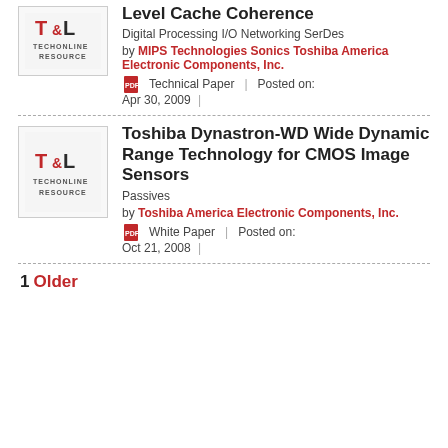[Figure (logo): TechOnline Resource logo thumbnail for first entry]
Level Cache Coherence
Digital Processing I/O Networking SerDes
by MIPS Technologies Sonics Toshiba America Electronic Components, Inc.
Technical Paper | Posted on: Apr 30, 2009
[Figure (logo): TechOnline Resource logo thumbnail for second entry]
Toshiba Dynastron-WD Wide Dynamic Range Technology for CMOS Image Sensors
Passives
by Toshiba America Electronic Components, Inc.
White Paper | Posted on: Oct 21, 2008
1  Older